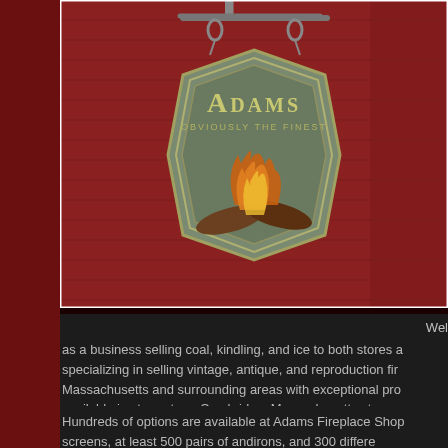[Figure (photo): A bronze hexagonal sign reading 'Adams - Obviously The Finest' with a fire/logs emblem, hanging from a metal bracket against a red wooden siding building exterior.]
Wel... as a business selling coal, kindling, and ice to both stores a... specializing in selling vintage, antique, and reproduction fir... Massachusetts and surrounding areas with exceptional pro... available in store at our Cambridge, Massachusetts store a...
Hundreds of options are available at Adams Fireplace Shop... screens, at least 500 pairs of andirons, and 300 differe...